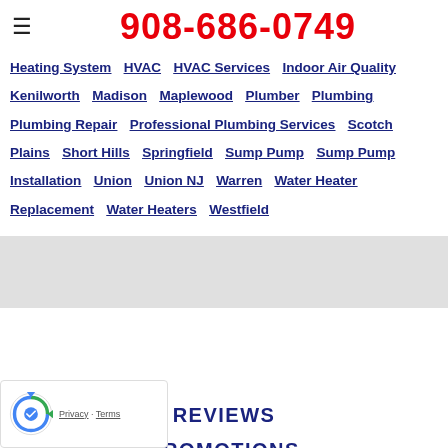908-686-0749
Heating System  HVAC  HVAC Services  Indoor Air Quality  Kenilworth  Madison  Maplewood  Plumber  Plumbing  Plumbing Repair  Professional Plumbing Services  Scotch Plains  Short Hills  Springfield  Sump Pump  Sump Pump Installation  Union  Union NJ  Warren  Water Heater Replacement  Water Heaters  Westfield
REVIEWS
PROMOTIONS
PHOTO GALLERY
SERVICE AREAS
BLOG